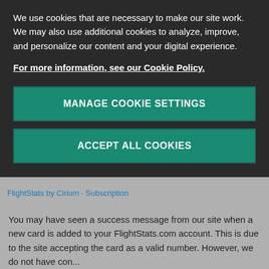We use cookies that are necessary to make our site work. We may also use additional cookies to analyze, improve, and personalize our content and your digital experience.
For more information, see our Cookie Policy.
MANAGE COOKIE SETTINGS
ACCEPT ALL COOKIES
FlightStats by Cirium · Subscription
You may have seen a success message from our site when a new card is added to your FlightStats.com account. This is due to the site accepting the card as a valid number. However, we do not have con...
Lauren Tanabe · 5 months ago · Updated · 1 follower · 0 comments · 0 votes